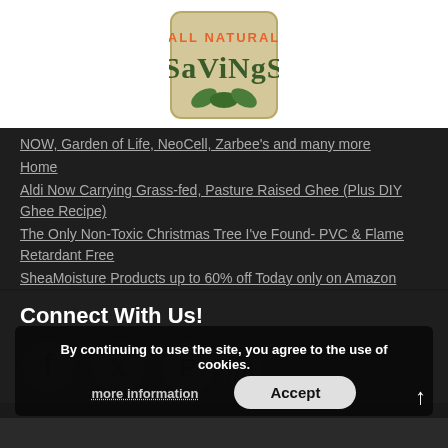[Figure (logo): All Natural Savings logo — tan/beige rounded rectangle with green leaves, orange text 'ALL NATURAL' and dark green stylized text 'SaViNgS']
NOW, Garden of Life, NeoCell, Zarbee's and many more
Home
Aldi Now Carrying Grass-fed, Pasture Raised Ghee (Plus DIY Ghee Recipe)
The Only Non-Toxic Christmas Tree I've Found- PVC & Flame Retardant Free
SheaMoisture Products up to 60% off Today only on Amazon
Connect With Us!
[Figure (illustration): Four social media icons: Facebook, Twitter, Pinterest, RSS feed — displayed in grey on dark background]
By continuing to use the site, you agree to the use of cookies.
more information
Accept